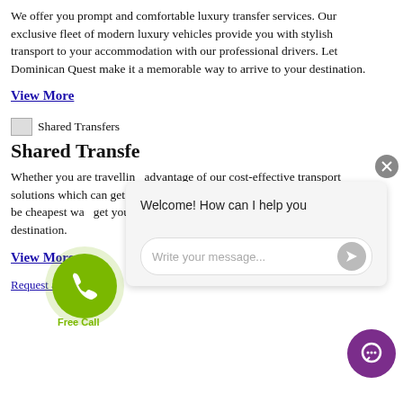We offer you prompt and comfortable luxury transfer services. Our exclusive fleet of modern luxury vehicles provide you with stylish transport to your accommodation with our professional drivers. Let Dominican Quest make it a memorable way to arrive to your destination.
View More
[Figure (illustration): Broken image icon placeholder for Shared Transfers image]
Shared Transfers
Whether you are travelling advantage of our cost-effective transport solutions which can get you to certain locations i and several stops may be cheapest way get you you along of the to-door se nt to your chosen destination.
View More
Request a quote
[Figure (screenshot): Chat widget overlay with greeting 'Welcome! How can I help you' and message input field]
[Figure (illustration): Green phone FAB button with 'Free Call' label]
[Figure (illustration): Purple chat support button]